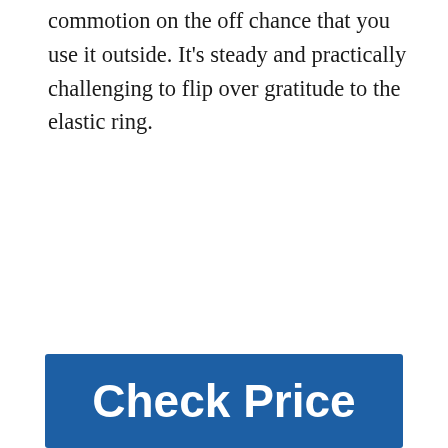commotion on the off chance that you use it outside. It's steady and practically challenging to flip over gratitude to the elastic ring.
[Figure (other): Blue 'Check Price' button]